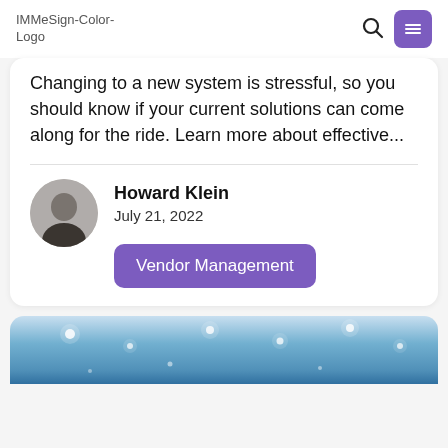IMMeSign-Color-Logo
Changing to a new system is stressful, so you should know if your current solutions can come along for the ride. Learn more about effective...
Howard Klein
July 21, 2022
Vendor Management
[Figure (photo): Blue sky with glowing light bokeh dots, partial view at bottom of page]